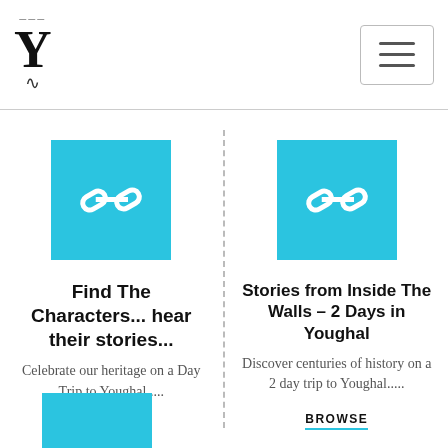Youghal - navigation header with logo and menu button
[Figure (infographic): Cyan square icon with chain/link symbol]
Find The Characters... hear their stories...
Celebrate our heritage on a Day Trip to Youghal.....
BROWSE
[Figure (infographic): Cyan square icon with chain/link symbol]
Stories from Inside The Walls – 2 Days in Youghal
Discover centuries of history on a 2 day trip to Youghal.....
BROWSE
[Figure (infographic): Partial cyan square icon visible at bottom of page]